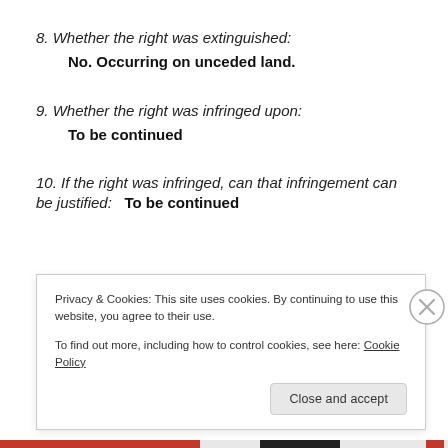8. Whether the right was extinguished: No. Occurring on unceded land.
9. Whether the right was infringed upon: To be continued
10. If the right was infringed, can that infringement can be justified: To be continued
Privacy & Cookies: This site uses cookies. By continuing to use this website, you agree to their use.
To find out more, including how to control cookies, see here: Cookie Policy
Close and accept